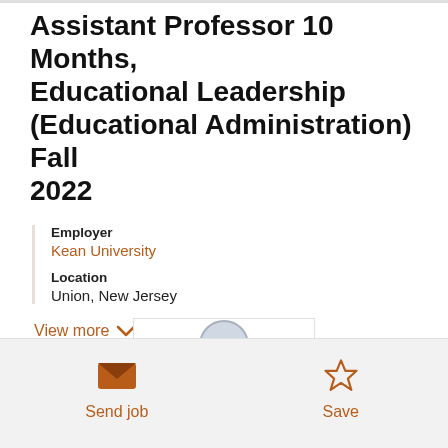Assistant Professor 10 Months, Educational Leadership (Educational Administration) Fall 2022
Employer
Kean University
Location
Union, New Jersey
View more
[Figure (logo): Kean University logo partially visible]
Send job
Save